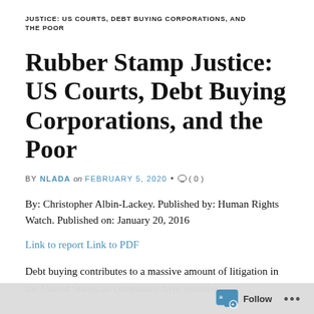JUSTICE: US COURTS, DEBT BUYING CORPORATIONS, AND THE POOR
Rubber Stamp Justice: US Courts, Debt Buying Corporations, and the Poor
BY NLADA on FEBRUARY 5, 2020 • ( 0 )
By: Christopher Albin-Lackey. Published by: Human Rights Watch. Published on: January 20, 2016
Link to report
Link to PDF
Debt buying contributes to a massive amount of litigation in the United States, as companies have realized